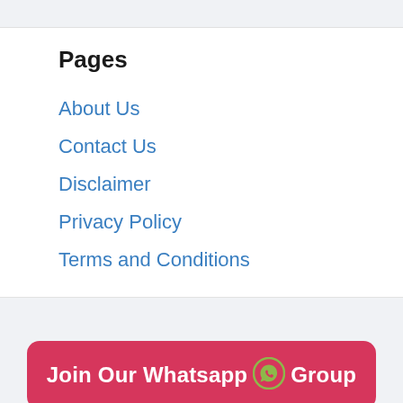Pages
About Us
Contact Us
Disclaimer
Privacy Policy
Terms and Conditions
Join Our Whatsapp Group